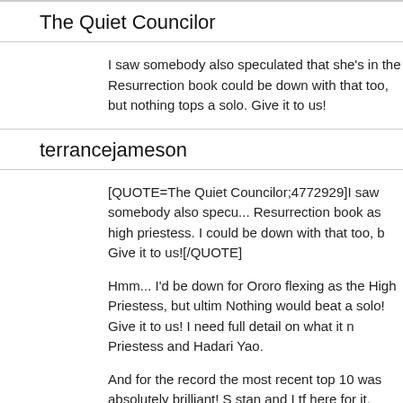The Quiet Councilor
I saw somebody also speculated that she's in the Resurrection book could be down with that too, but nothing tops a solo. Give it to us!
terrancejameson
[QUOTE=The Quiet Councilor;4772929]I saw somebody also speculated that she's in the Resurrection book as high priestess. I could be down with that too, but nothing tops a solo. Give it to us![/QUOTE]

Hmm... I'd be down for Ororo flexing as the High Priestess, but ultimately Nothing would beat a solo! Give it to us! I need full detail on what it means to be High Priestess and Hadari Yao.

And for the record the most recent top 10 was absolutely brilliant! Stan and I tf here for it.
Osvaldoeaf